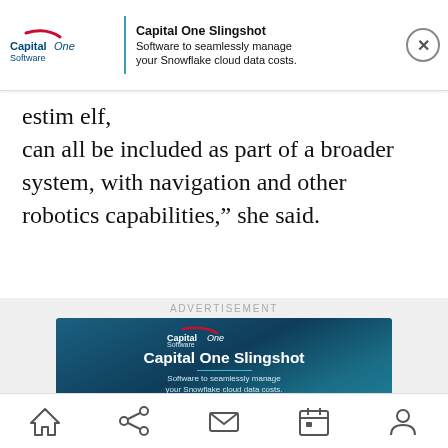estim... elf, can all be included as part of a broader system, with navigation and other robotics capabilities,” she said.
[Figure (screenshot): Capital One Software top banner advertisement showing Capital One Slingshot - Software to seamlessly manage your Snowflake cloud data costs, with close button]
ADVERTISEMENT
[Figure (screenshot): Capital One Slingshot advertisement banner: dark blue background with Capital One Software logo, heading 'Capital One Slingshot', teal divider line, subtext 'Software to seamlessly manage your Snowflake cloud data costs.', and 'Learn more' white button]
Home | Share | Mail | Calendar | Profile navigation icons